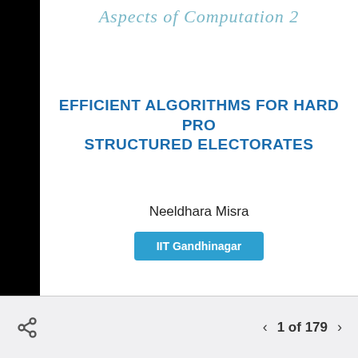Aspects of Computation 2...
EFFICIENT ALGORITHMS FOR HARD PROBLEMS ON STRUCTURED ELECTORATES
Neeldhara Misra
IIT Gandhinagar
1 of 179